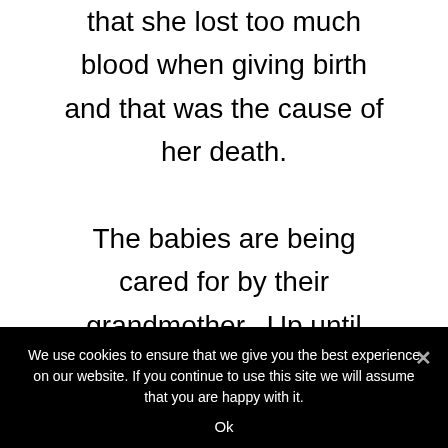that she lost too much blood when giving birth and that was the cause of her death.

The babies are being cared for by their grandmother.  Up until they came to us she has been feeding them cows milk since she cannot
We use cookies to ensure that we give you the best experience on our website. If you continue to use this site we will assume that you are happy with it.
Ok